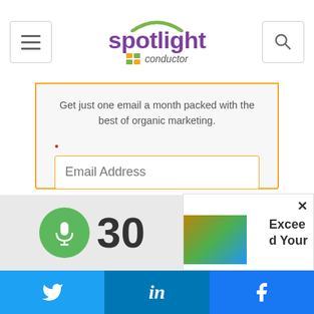[Figure (logo): Spotlight by Conductor logo — purple 'spotlight' text with green arc above, conductor branding below]
Get just one email a month packed with the best of organic marketing.
* Email Address
I want the best marketing content from Conductor sent straight to my inbox. Sign me up!
SUBMIT
[Figure (infographic): Green microphone circle icon with the number 30 beside it on grey background]
[Figure (photo): Thumbnail image with text 'Exceed Your']
Twitter | LinkedIn | Facebook social sharing bar